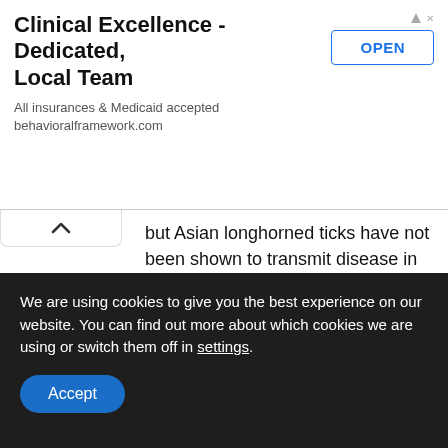[Figure (screenshot): Advertisement banner: Clinical Excellence - Dedicated, Local Team. All insurances & Medicaid accepted. behavioralframework.com. With an OPEN button.]
but Asian longhorned ticks have not been shown to transmit disease in the US. Last year, tick surveillance found another tick, the Gulf Coast tick is established in Staten Island, but in very small numbers.
[Figure (logo): Amazon logo with orange arrow, above a book cover image for BITTEN]
We are using cookies to give you the best experience on our website. You can find out more about which cookies we are using or switch them off in settings.
Accept